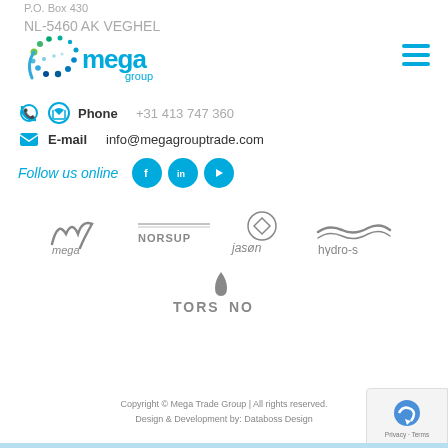P.O. Box 430
NL-5460 AK VEGHEL
[Figure (logo): Mega Group logo with colorful dot-swirl graphic and blue 'mega group' text]
[Figure (other): Hamburger menu icon (3 blue horizontal lines)]
Phone  +31 413 747 360
E-mail  info@megagrouptrade.com
Follow us online
[Figure (other): Social media icons: Facebook, LinkedIn, YouTube (blue circles)]
[Figure (logo): Brand logos row 1: mega, NORSUP, jason, hydro-s — all in gray]
[Figure (logo): Brand logo row 2: TORSINO in gray]
Copyright © Mega Trade Group | All rights reserved.
Design & Development by: Databoss Design